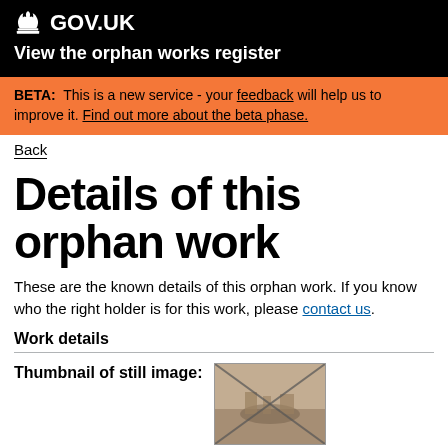GOV.UK View the orphan works register
BETA: This is a new service - your feedback will help us to improve it. Find out more about the beta phase.
Back
Details of this orphan work
These are the known details of this orphan work. If you know who the right holder is for this work, please contact us.
Work details
Thumbnail of still image:
[Figure (photo): Sepia-toned vintage photograph thumbnail showing what appears to be a flooded or riverside scene with buildings, partly obscured by diagonal lines/markings]